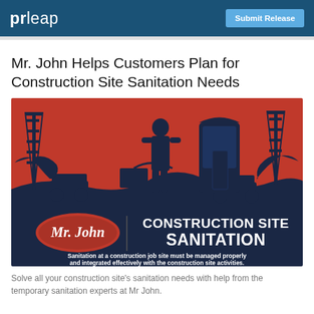prleap | Submit Release
Mr. John Helps Customers Plan for Construction Site Sanitation Needs
[Figure (illustration): Promotional infographic for Mr. John Construction Site Sanitation. Red background with dark blue silhouettes of construction equipment (excavators, drilling rigs), a person standing in front of a portable toilet. Lower section has dark blue background with Mr. John oval logo on left, text 'CONSTRUCTION SITE SANITATION' in bold white, and caption 'Sanitation at a construction job site must be managed properly and integrated effectively with the construction site activities.']
Solve all your construction site's sanitation needs with help from the temporary sanitation experts at Mr John.